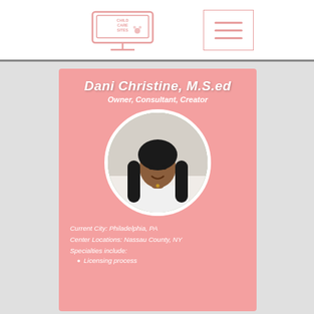[Figure (logo): Child Care Sites logo — a computer monitor with text 'CHILD CARE SITES' and a small animal graphic, rendered in pink/salmon outline style]
[Figure (infographic): Hamburger menu icon — three horizontal pink lines in a bordered box]
Dani Christine, M.S.ed
Owner, Consultant, Creator
[Figure (photo): Circular headshot photo of Dani Christine, a young Black woman with long dark box braids, wearing a white top, smiling, in an office background]
Current City: Philadelphia, PA
Center Locations: Nassau County, NY
Specialties include:
Licensing process